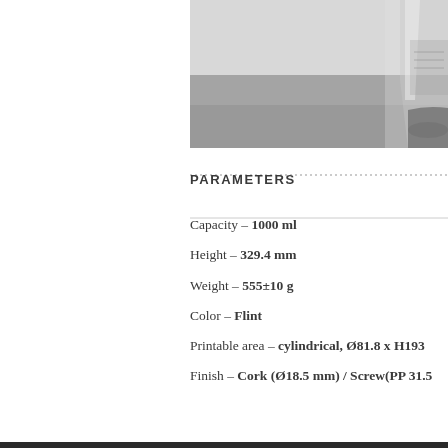[Figure (photo): Partial photograph of a glass bottle/container on a gray surface, showing the base and lower portion of the bottle against a light background.]
PARAMETERS
Capacity – 1000 ml
Height – 329.4 mm
Weight – 555±10 g
Color – Flint
Printable area – cylindrical,  Ø81.8 x H193
Finish – Cork (Ø18.5 mm) / Screw(PP 31.5